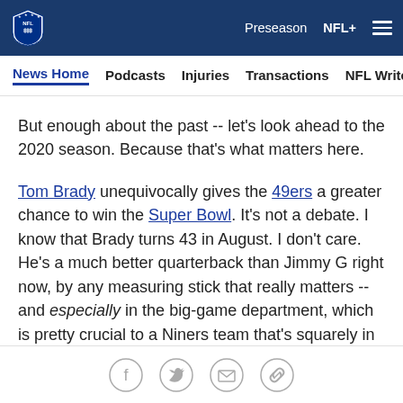NFL | Preseason  NFL+  ≡
News Home  Podcasts  Injuries  Transactions  NFL Writers  Se
But enough about the past -- let's look ahead to the 2020 season. Because that's what matters here.
Tom Brady unequivocally gives the 49ers a greater chance to win the Super Bowl. It's not a debate. I know that Brady turns 43 in August. I don't care. He's a much better quarterback than Jimmy G right now, by any measuring stick that really matters -- and especially in the big-game department, which is pretty crucial to a Niners team that's squarely in its Super Bowl window.
Share icons: Facebook, Twitter, Email, Link